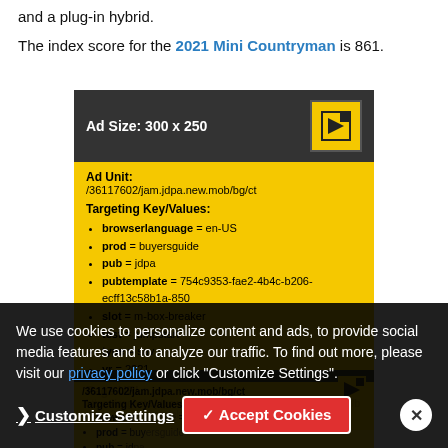and a plug-in hybrid.
The index score for the 2021 Mini Countryman is 861.
[Figure (screenshot): Advertisement debug overlay showing Ad Size: 300 x 250, Ad Unit: /36117602/jam.jdpa.new.mob/bg/ct, with targeting key/values: browserlanguage=en-US, prod=buyersguide, pub=jdpa, pubtemplate=754c9353-fae2-4b4c-b206-ecff13c58b1a-850, slot=m-box-breaker, test=jumpstart, type=suv, yr=2021, Page URL shown partially. JD Power logo visible.]
We use cookies to personalize content and ads, to provide social media features and to analyze our traffic. To find out more, please visit our privacy policy or click "Customize Settings".
Customize Settings
✓ Accept Cookies